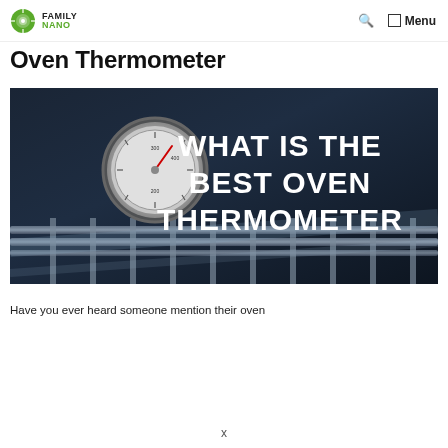FAMILY NANO — Menu
Oven Thermometer
[Figure (photo): Dark close-up photo of an oven interior with a circular analog oven thermometer dial visible, with bold white text overlay reading 'WHAT IS THE BEST OVEN THERMOMETER']
Have you ever heard someone mention their oven